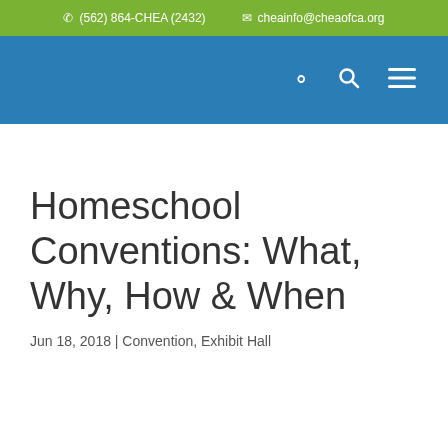(562) 864-CHEA (2432)  cheainfo@cheaofca.org
Homeschool Conventions: What, Why, How & When
Jun 18, 2018 | Convention, Exhibit Hall